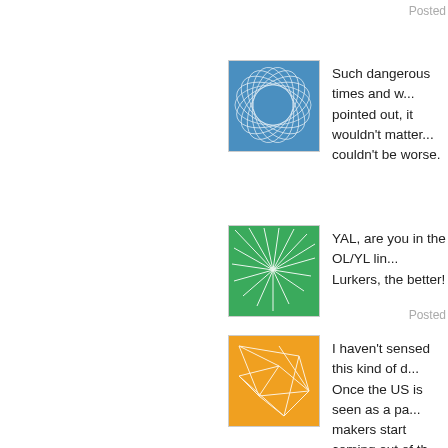Posted
[Figure (illustration): Blue square avatar with spirograph/geometric circle pattern]
Such dangerous times and w... pointed out, it wouldn't matter... couldn't be worse.
[Figure (illustration): Green square avatar with pinwheel/spiral pattern]
YAL, are you in the OL/YL lin... Lurkers, the better!
Posted
[Figure (illustration): Orange square avatar with geometric network/triangulation pattern]
I haven't sensed this kind of d... Once the US is seen as a pa... makers start coming out of th... dangerous people in the worl... eunuch in way over his head.
Posted
[Figure (illustration): Light blue square avatar with spirograph concentric circle pattern and bullseye center]
but also the only one mentally... but reasonably effective publ... about it, commit itself...